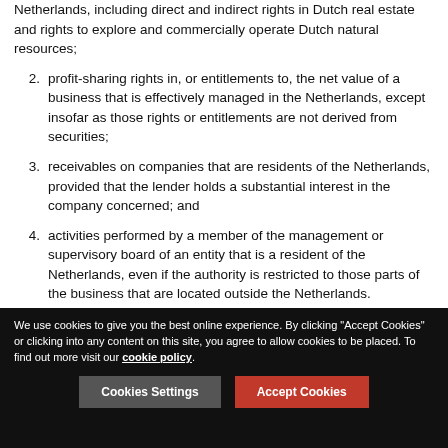Netherlands, including direct and indirect rights in Dutch real estate and rights to explore and commercially operate Dutch natural resources;
2. profit-sharing rights in, or entitlements to, the net value of a business that is effectively managed in the Netherlands, except insofar as those rights or entitlements are not derived from securities;
3. receivables on companies that are residents of the Netherlands, provided that the lender holds a substantial interest in the company concerned; and
4. activities performed by a member of the management or supervisory board of an entity that is a resident of the Netherlands, even if the authority is restricted to those parts of the business that are located outside the Netherlands.
We use cookies to give you the best online experience. By clicking "Accept Cookies" or clicking into any content on this site, you agree to allow cookies to be placed. To find out more visit our cookie policy.